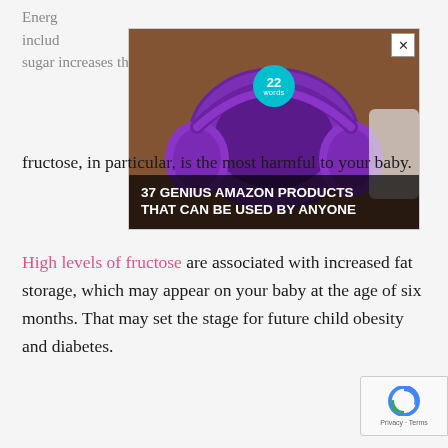Energ... includ... sive sugar increases the risk of obesity. But in this case,
[Figure (screenshot): Advertisement overlay showing purple headphones on a wooden table with a phone visible. Badge shows '22'. Headline reads '37 GENIUS AMAZON PRODUCTS THAT CAN BE USED BY ANYONE'. Close button (X) in top-right corner.]
fructose, in particular, is the most harmful to your baby.
High levels of fructose are associated with increased fat storage, which may appear on your baby at the age of six months. That may set the stage for future child obesity and diabetes.